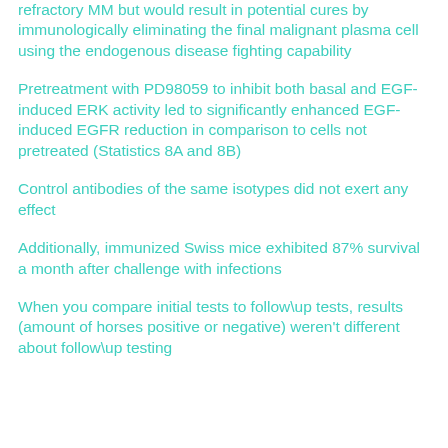refractory MM but would result in potential cures by immunologically eliminating the final malignant plasma cell using the endogenous disease fighting capability
Pretreatment with PD98059 to inhibit both basal and EGF-induced ERK activity led to significantly enhanced EGF-induced EGFR reduction in comparison to cells not pretreated (Statistics 8A and 8B)
Control antibodies of the same isotypes did not exert any effect
Additionally, immunized Swiss mice exhibited 87% survival a month after challenge with infections
When you compare initial tests to follow\up tests, results (amount of horses positive or negative) weren't different about follow\up testing